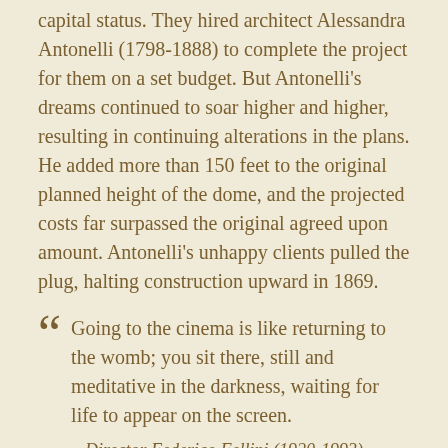capital status. They hired architect Alessandra Antonelli (1798-1888) to complete the project for them on a set budget. But Antonelli's dreams continued to soar higher and higher, resulting in continuing alterations in the plans. He added more than 150 feet to the original planned height of the dome, and the projected costs far surpassed the original agreed upon amount. Antonelli's unhappy clients pulled the plug, halting construction upward in 1869.
Going to the cinema is like returning to the womb; you sit there, still and meditative in the darkness, waiting for life to appear on the screen.
Director Federico Fellini (1920-1993)